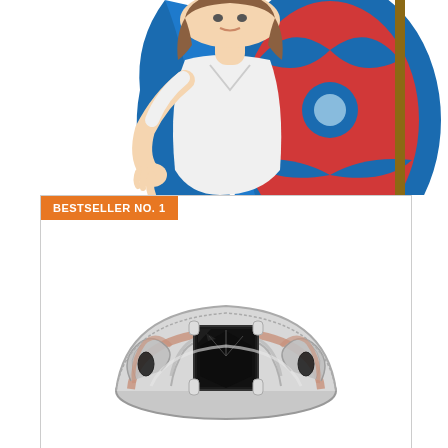[Figure (illustration): 3D cartoon knight/warrior character in white armor with blue cape, holding a red and blue shield with a spear, pointing downward with index finger]
[Figure (photo): A decorative silver and rose gold ring with a large square-cut black gemstone center stone, ornate filigree side details, and small black accent stones]
BESTSELLER NO. 1